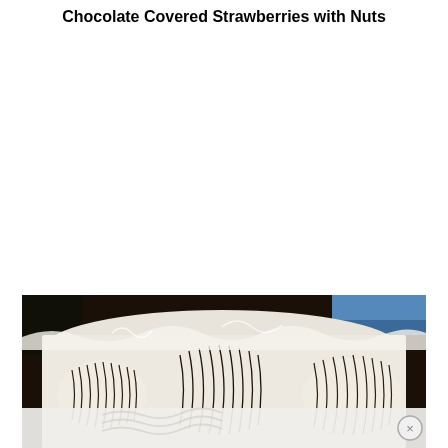Chocolate Covered Strawberries with Nuts
[Figure (photo): Close-up photograph of chocolate covered strawberries drizzled with white and dark chocolate stripes, displayed on white paper in a dark setting. The lower portion shows an advertisement overlay with a close/dismiss button (×).]